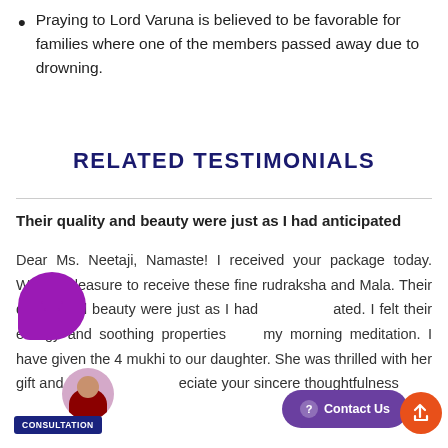Praying to Lord Varuna is believed to be favorable for families where one of the members passed away due to drowning.
RELATED TESTIMONIALS
Their quality and beauty were just as I had anticipated
Dear Ms. Neetaji, Namaste! I received your package today. What a pleasure to receive these fine rudraksha and Mala. Their quality and beauty were just as I had anticipated. I felt their energy and soothing properties my morning meditation. I have given the 4 mukhi to our daughter. She was thrilled with her gift and we all appreciate your sincere thoughtfulness assisted. I am listening to the Rudraksha Design